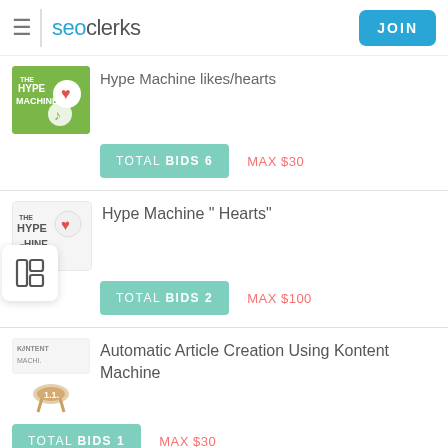seoclerks — JOIN
Hype Machine likes/hearts — TOTAL BIDS 6 — MAX $30
Hype Machine " Hearts" — TOTAL BIDS 2 — MAX $100
Automatic Article Creation Using Kontent Machine — TOTAL BIDS 1 — MAX $30
I want a working VPS